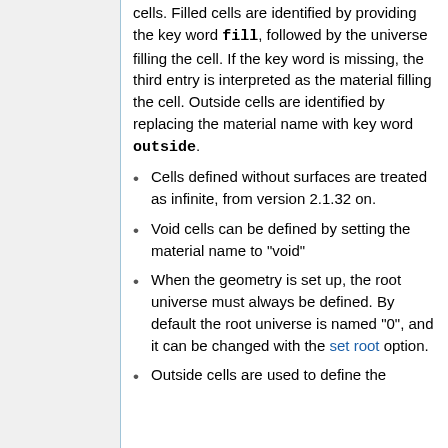cells. Filled cells are identified by providing the key word fill, followed by the universe filling the cell. If the key word is missing, the third entry is interpreted as the material filling the cell. Outside cells are identified by replacing the material name with key word outside.
Cells defined without surfaces are treated as infinite, from version 2.1.32 on.
Void cells can be defined by setting the material name to "void"
When the geometry is set up, the root universe must always be defined. By default the root universe is named "0", and it can be changed with the set root option.
Outside cells are used to define the